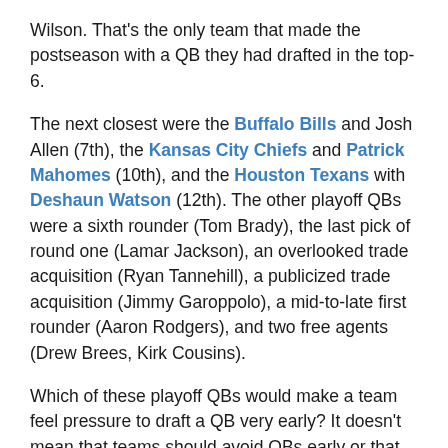Wilson. That's the only team that made the postseason with a QB they had drafted in the top-6.
The next closest were the Buffalo Bills and Josh Allen (7th), the Kansas City Chiefs and Patrick Mahomes (10th), and the Houston Texans with Deshaun Watson (12th). The other playoff QBs were a sixth rounder (Tom Brady), the last pick of round one (Lamar Jackson), an overlooked trade acquisition (Ryan Tannehill), a publicized trade acquisition (Jimmy Garoppolo), a mid-to-late first rounder (Aaron Rodgers), and two free agents (Drew Brees, Kirk Cousins).
Which of these playoff QBs would make a team feel pressure to draft a QB very early? It doesn't mean that teams should avoid QBs early or that the value of